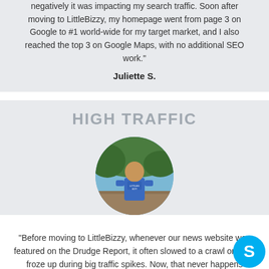negatively it was impacting my search traffic. Soon after moving to LittleBizzy, my homepage went from page 3 on Google to #1 world-wide for my target market, and I also reached the top 3 on Google Maps, with no additional SEO work."
Juliette S.
HIGH TRAFFIC
[Figure (photo): Circular portrait photo of a man in a blue t-shirt standing outdoors with trees and hills in background]
"Before moving to LittleBizzy, whenever our news website was featured on the Drudge Report, it often slowed to a crawl or even froze up during big traffic spikes. Now, that never happens anymore, and we've been able to focus on publishing more articles instead of worrying about our web hosting."